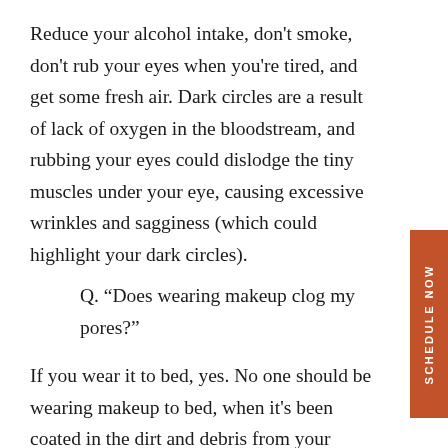Reduce your alcohol intake, don't smoke, don't rub your eyes when you're tired, and get some fresh air. Dark circles are a result of lack of oxygen in the bloodstream, and rubbing your eyes could dislodge the tiny muscles under your eye, causing excessive wrinkles and sagginess (which could highlight your dark circles).
Q. “Does wearing makeup clog my pores?”
If you wear it to bed, yes. No one should be wearing makeup to bed, when it’s been coated in the dirt and debris from your daytime activities. Most cosmetic lines today offer high